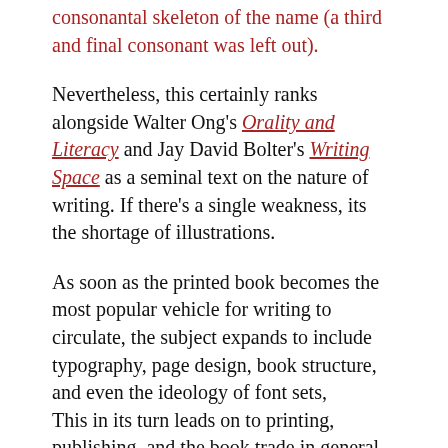consonantal skeleton of the name (a third and final consonant was left out).
Nevertheless, this certainly ranks alongside Walter Ong's Orality and Literacy and Jay David Bolter's Writing Space as a seminal text on the nature of writing. If there's a single weakness, its the shortage of illustrations.
As soon as the printed book becomes the most popular vehicle for writing to circulate, the subject expands to include typography, page design, book structure, and even the ideology of font sets, This in its turn leads on to printing, publishing, and the book trade in general, plus a consideration of reading habits, of pirating works, and of censorship.